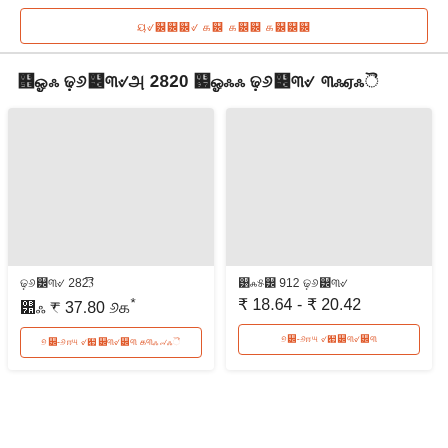ऑनलाइन खरीदें
ऐसे उत्पादों 2820 जैसे उत्पाद देखें
[Figure (photo): Product image placeholder - light gray rectangle for product 2823]
उत्पाद 2823सं
से ₹ 37.80 तक*
थोक-मूल्य निर्धारित करवाएं
[Figure (photo): Product image placeholder - light gray rectangle for product 912]
श्रेणी 912 उत्पाद
₹ 18.64 - ₹ 20.42
थोक-मूल्य निर्धारित